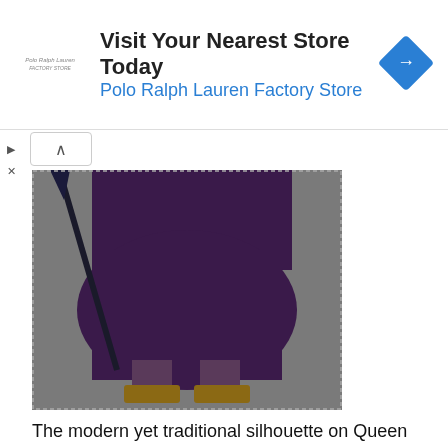[Figure (infographic): Polo Ralph Lauren Factory Store advertisement banner with logo, text 'Visit Your Nearest Store Today / Polo Ralph Lauren Factory Store', and a blue diamond-shaped navigation icon]
[Figure (photo): Photo of person wearing dark purple draped pants and sandals, holding what appears to be a staff or spear, shot from waist down on a grey surface]
The modern yet traditional silhouette on Queen Ramonda.
The 3/4-length jackets with mandarin collar and shogun pants on T'Challa
The purple and the draping on Zuri with the ashy face paint.
The feather earrings, high collars, pops of color. The